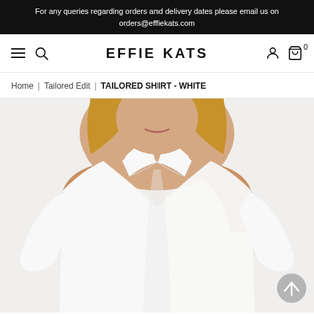For any queries regarding orders and delivery dates please email us on orders@effiekats.com
[Figure (screenshot): Website navigation bar with hamburger menu, search icon, EFFIE KATS logo, user account icon, and shopping cart with 0 items]
Home | Tailored Edit | TAILORED SHIRT - WHITE
[Figure (photo): Female model wearing a white tailored shirt, open at the front, showing collar and sleeves, cropped photo from shoulders to mid-torso]